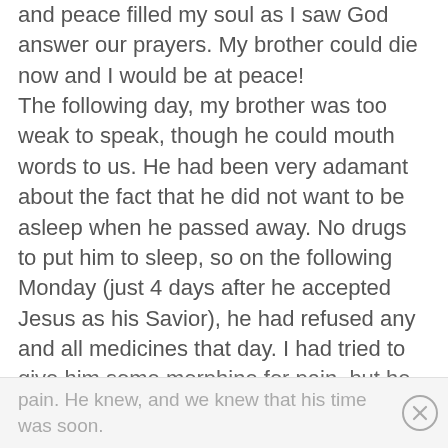and peace filled my soul as I saw God answer our prayers. My brother could die now and I would be at peace! The following day, my brother was too weak to speak, though he could mouth words to us. He had been very adamant about the fact that he did not want to be asleep when he passed away. No drugs to put him to sleep, so on the following Monday (just 4 days after he accepted Jesus as his Savior), he had refused any and all medicines that day. I had tried to give him some morphine for pain, but he clenched his teeth, and what I got inside, he spit out onto his shirt. Okay, I gave up, I would no longer try to drug him for the pain. He knew, and we knew that his time was soon.